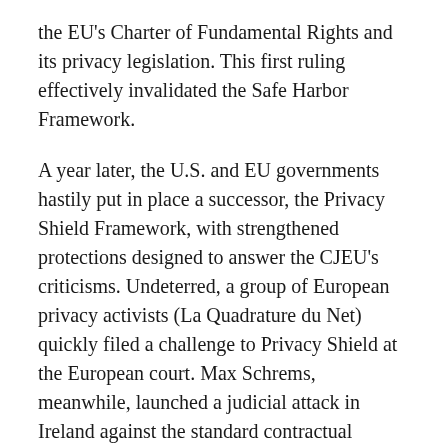the EU's Charter of Fundamental Rights and its privacy legislation. This first ruling effectively invalidated the Safe Harbor Framework.
A year later, the U.S. and EU governments hastily put in place a successor, the Privacy Shield Framework, with strengthened protections designed to answer the CJEU's criticisms. Undeterred, a group of European privacy activists (La Quadrature du Net) quickly filed a challenge to Privacy Shield at the European court. Max Schrems, meanwhile, launched a judicial attack in Ireland against the standard contractual clauses to which Facebook, like other companies, had turned in the wake of the sudden collapse of the Safe Harbor and before the adoption of the Privacy Shield. He pointed out that the U.S. intelligence community was just as likely to claim his Facebook data transferred under standard clauses as under the intergovernmental Safe Harbor arrangement. The CJEU eventually decided to